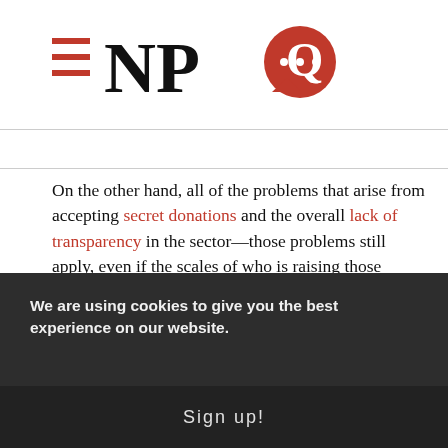NPQ logo
On the other hand, all of the problems that arise from accepting secret donations and the overall lack of transparency in the sector—those problems still apply, even if the scales of who is raising those secret dollars have now balanced out a bit. We've noted at NPQ before how politics these days often comes down to a battle of the billionaires—whether it is the Koch Brothers versus Tom Steyer or this fall's bizarre San Francisco tête-à-tête between Salesforce CEO Marc Benioff and Twitter CEO Jack Dorsey. In the long term, this can't be healthy, no matter who "wins."
We are using cookies to give you the best experience on our website.
Sign up!